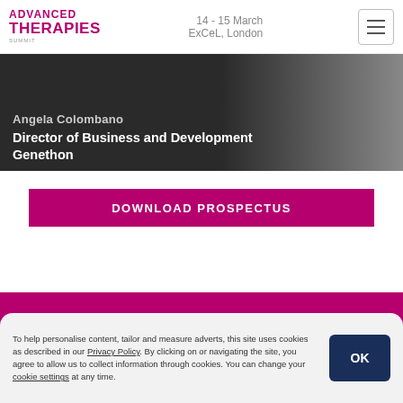ADVANCED THERAPIES | 14 - 15 March, ExCeL, London
[Figure (photo): Dark background banner with text overlay showing speaker name and title]
Angela Colombano
Director of Business and Development
Genethon
DOWNLOAD PROSPECTUS
STAY UP TO DATE
Join our mailing list to receive exclusive content and offers.
To help personalise content, tailor and measure adverts, this site uses cookies as described in our Privacy Policy. By clicking on or navigating the site, you agree to allow us to collect information through cookies. You can change your cookie settings at any time.